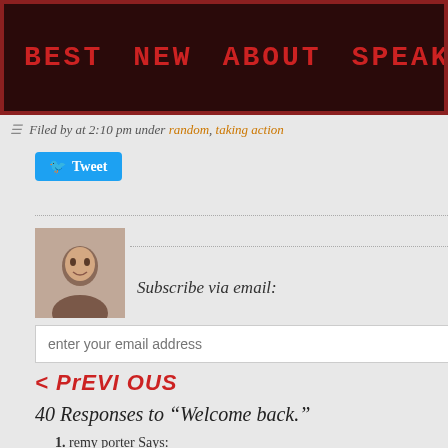BEST  NEW  ABOUT  SPEAK  SUB  ARCH
Filed by at 2:10 pm under random, taking action
[Figure (other): Twitter Tweet button]
Subscribe via email:
enter your email address
< PrEVIOUS
40 Responses to “Welcome back.”
remy porter Says:
May 16th, 2012 at 2:52 pm
I’ve never experienced that sort of feeling. Everything I do, regardless of the challenges they present, is because